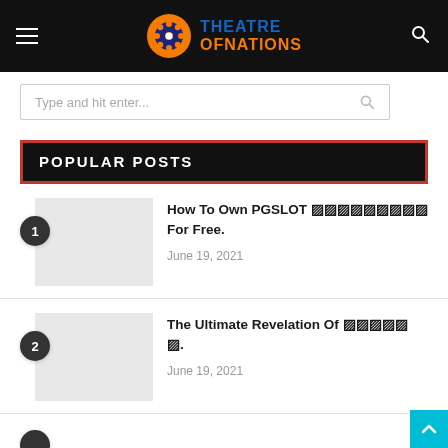Theatre Of Nations
Type and hit enter...
POPULAR POSTS
How To Own PGSLOT 🀱🀱🀱🀱🀱🀱🀱🀱🀱 For Free. — June 19, 2021
The Ultimate Revelation Of 🀱🀱🀱🀱🀱🀱. — June 19, 2021